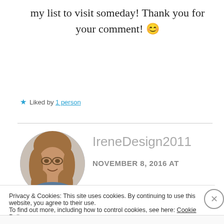my list to visit someday! Thank you for your comment! 😊
★ Liked by 1 person
IreneDesign2011
NOVEMBER 8, 2016 AT
[Figure (photo): Circular avatar photo of a woman with long hair]
Privacy & Cookies: This site uses cookies. By continuing to use this website, you agree to their use.
To find out more, including how to control cookies, see here: Cookie Policy
Close and accept